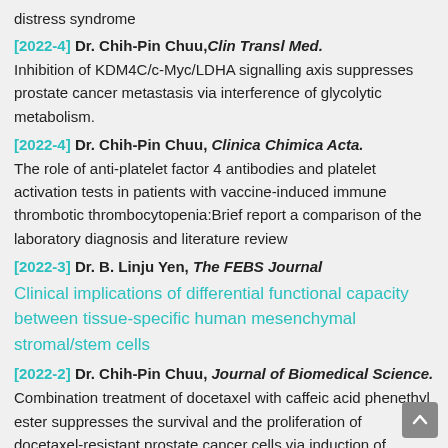distress syndrome
[2022-4] Dr. Chih-Pin Chuu, Clin Transl Med. Inhibition of KDM4C/c-Myc/LDHA signalling axis suppresses prostate cancer metastasis via interference of glycolytic metabolism.
[2022-4] Dr. Chih-Pin Chuu, Clinica Chimica Acta. The role of anti-platelet factor 4 antibodies and platelet activation tests in patients with vaccine-induced immune thrombotic thrombocytopenia:Brief report a comparison of the laboratory diagnosis and literature review
[2022-3] Dr. B. Linju Yen, The FEBS Journal
Clinical implications of differential functional capacity between tissue-specific human mesenchymal stromal/stem cells
[2022-2] Dr. Chih-Pin Chuu, Journal of Biomedical Science. Combination treatment of docetaxel with caffeic acid phenethyl ester suppresses the survival and the proliferation of docetaxel-resistant prostate cancer cells via induction of apoptosis and metabolism